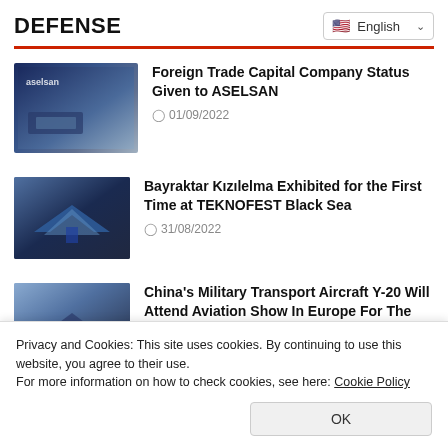DEFENSE
English
Foreign Trade Capital Company Status Given to ASELSAN — 01/09/2022
Bayraktar Kızılelma Exhibited for the First Time at TEKNOFEST Black Sea — 31/08/2022
China's Military Transport Aircraft Y-20 Will Attend Aviation Show In Europe For The
Privacy and Cookies: This site uses cookies. By continuing to use this website, you agree to their use.
For more information on how to check cookies, see here: Cookie Policy